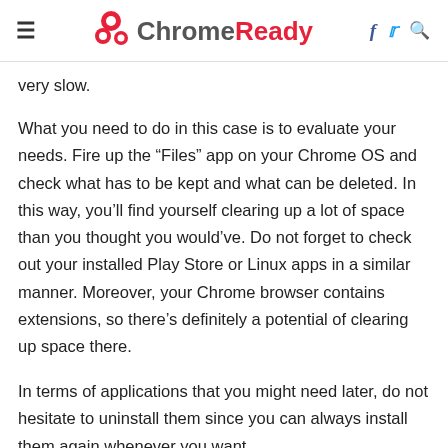ChromeReady
very slow.
What you need to do in this case is to evaluate your needs. Fire up the “Files” app on your Chrome OS and check what has to be kept and what can be deleted. In this way, you’ll find yourself clearing up a lot of space than you thought you would’ve. Do not forget to check out your installed Play Store or Linux apps in a similar manner. Moreover, your Chrome browser contains extensions, so there’s definitely a potential of clearing up space there.
In terms of applications that you might need later, do not hesitate to uninstall them since you can always install them again whenever you want.